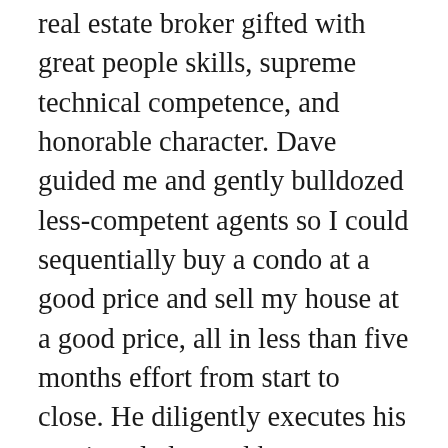real estate broker gifted with great people skills, supreme technical competence, and honorable character. Dave guided me and gently bulldozed less-competent agents so I could sequentially buy a condo at a good price and sell my house at a good price, all in less than five months effort from start to close. He diligently executes his service pledge and kept me very informed of progress and issues. He intercepted problems and, if he couldn't solve them before they got to me, he provided solid advice and options about them to me. Dave is a pleasure to work with. I have been more than pleased with the service and results that Dave provided to